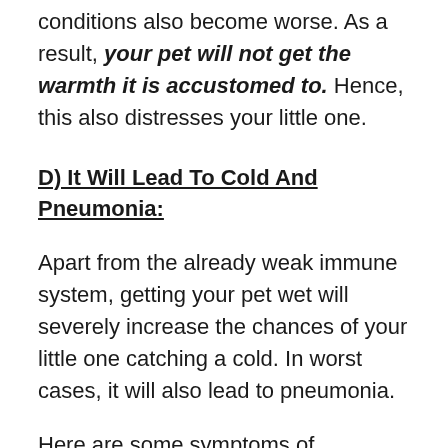conditions also become worse. As a result, your pet will not get the warmth it is accustomed to. Hence, this also distresses your little one.
D) It Will Lead To Cold And Pneumonia:
Apart from the already weak immune system, getting your pet wet will severely increase the chances of your little one catching a cold. In worst cases, it will also lead to pneumonia.
Here are some symptoms of pneumonia to keep an eye out for if your pet gets wet.